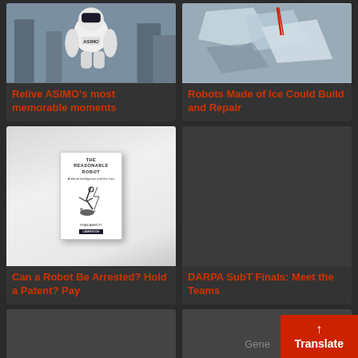[Figure (photo): ASIMO robot with city buildings visible in background]
Relive ASIMO's most memorable moments
[Figure (photo): Close-up of a robot or object made of ice with wires]
Robots Made of Ice Could Build and Repair
[Figure (photo): Book cover: The Reasonable Robot - Artificial Intelligence and the Law by Ryan Abbott]
Can a Robot Be Arrested? Hold a Patent? Pay
[Figure (photo): Dark placeholder image for DARPA SubT Finals article]
DARPA SubT Finals: Meet the Teams
[Figure (photo): Partial bottom card left, dark placeholder]
[Figure (photo): Partial bottom card right, dark placeholder]
Gene